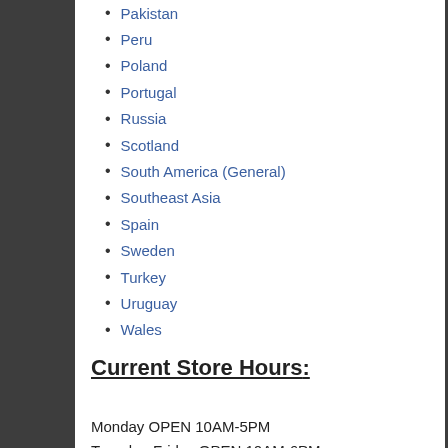Pakistan
Peru
Poland
Portugal
Russia
Scotland
South America (General)
Southeast Asia
Spain
Sweden
Turkey
Uruguay
Wales
Current Store Hours:
Monday OPEN 10AM-5PM
Tuesday-Friday OPEN 10AM-6PM
Saturday OPEN 9AM-5PM
Sunday OPEN 10AM-4PM